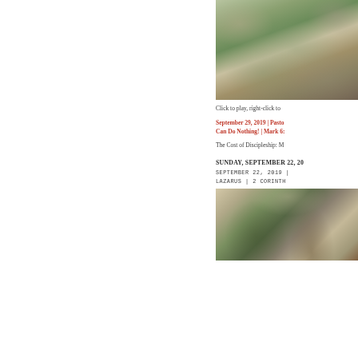[Figure (photo): Blurred outdoor photo showing stone wall with greenery, partially cropped on right side of page]
Click to play, right-click to
September 29, 2019 | Pasto Can Do Nothing! | Mark 6:
The Cost of Discipleship: M
SUNDAY, SEPTEMBER 22, 20
SEPTEMBER 22, 2019 | LAZARUS | 2 CORINTH
[Figure (photo): Outdoor nature photo showing tree branches against bright sky and wooden surface, partially visible]